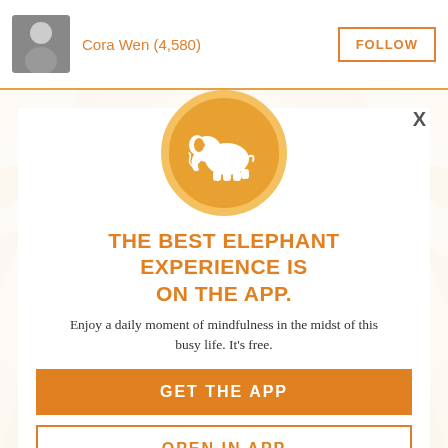Cora Wen (4,580)
[Figure (screenshot): App promotion modal overlay on a webpage showing an elephant app icon, headline, description, and two call-to-action buttons]
THE BEST ELEPHANT EXPERIENCE IS ON THE APP.
Enjoy a daily moment of mindfulness in the midst of this busy life. It's free.
GET THE APP
OPEN IN APP